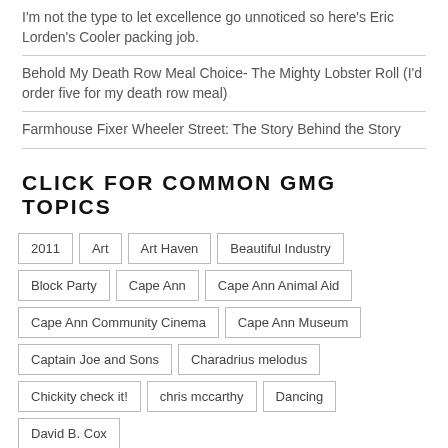I'm not the type to let excellence go unnoticed so here's Eric Lorden's Cooler packing job.
Behold My Death Row Meal Choice- The Mighty Lobster Roll (I'd order five for my death row meal)
Farmhouse Fixer Wheeler Street: The Story Behind the Story
CLICK FOR COMMON GMG TOPICS
2011
Art
Art Haven
Beautiful Industry
Block Party
Cape Ann
Cape Ann Animal Aid
Cape Ann Community Cinema
Cape Ann Museum
Captain Joe and Sons
Charadrius melodus
Chickity check it!
chris mccarthy
Dancing
David B. Cox